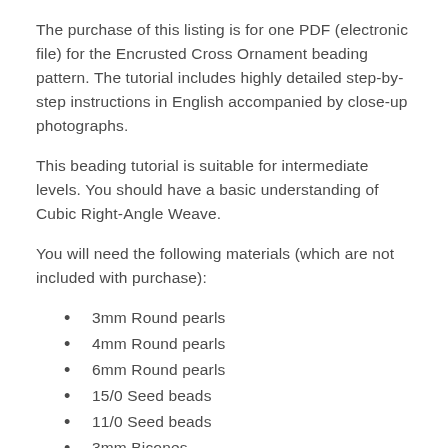The purchase of this listing is for one PDF (electronic file) for the Encrusted Cross Ornament beading pattern. The tutorial includes highly detailed step-by-step instructions in English accompanied by close-up photographs.
This beading tutorial is suitable for intermediate levels. You should have a basic understanding of Cubic Right-Angle Weave.
You will need the following materials (which are not included with purchase):
3mm Round pearls
4mm Round pearls
6mm Round pearls
15/0 Seed beads
11/0 Seed beads
3mm Bicones
Beading thread